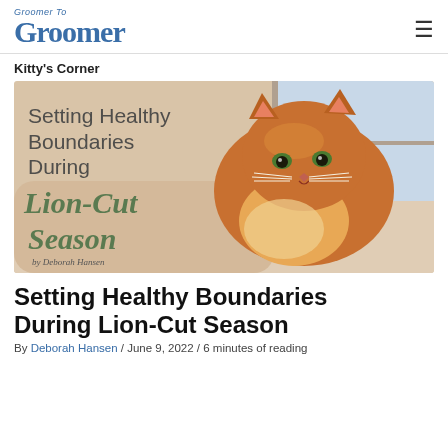Groomer To Groomer
Kitty's Corner
[Figure (illustration): Hero image of an orange long-haired cat lying on a fluffy blanket near a window, with overlaid text reading 'Setting Healthy Boundaries During Lion-Cut Season by Deborah Hansen']
Setting Healthy Boundaries During Lion-Cut Season
By Deborah Hansen / June 9, 2022 / 6 minutes of reading